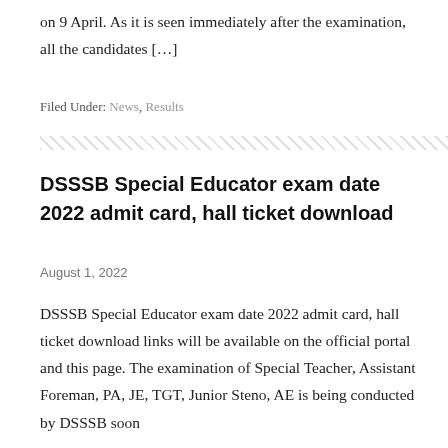on 9 April. As it is seen immediately after the examination, all the candidates […]
Filed Under: News, Results
[Figure (other): Diagonal hatch divider line]
DSSSB Special Educator exam date 2022 admit card, hall ticket download
August 1, 2022
DSSSB Special Educator exam date 2022 admit card, hall ticket download links will be available on the official portal and this page. The examination of Special Teacher, Assistant Foreman, PA, JE, TGT, Junior Steno, AE is being conducted by DSSSB soon